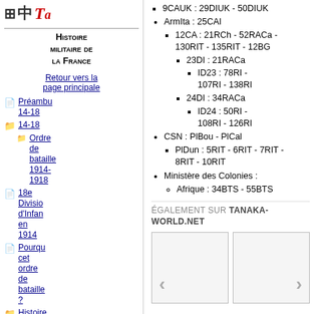[Figure (logo): Tanaka-world website logo with grid symbol, CJK character, and red italic T]
Histoire militaire de la France
Retour vers la page principale
Préambu 14-18
Ordre de bataille 1914-1918
18e Division d'Infanterie en 1914
Pourquoi cet ordre de bataille ?
Histoire des...
9CAUK : 29DIUK - 50DIUK
ArmIta : 25CAI
12CA : 21RCh - 52RACa - 130RIT - 135RIT - 12BG
23DI : 21RACa
ID23 : 78RI - 107RI - 138RI
24DI : 34RACa
ID24 : 50RI - 108RI - 126RI
CSN : PlBou - PlCal
PlDun : 5RIT - 6RIT - 7RIT - 8RIT - 10RIT
Ministère des Colonies :
Afrique : 34BTS - 55BTS
ÉGALEMENT SUR TANAKA-WORLD.NET
[Figure (screenshot): Two thumbnail navigation images with left and right arrow buttons]